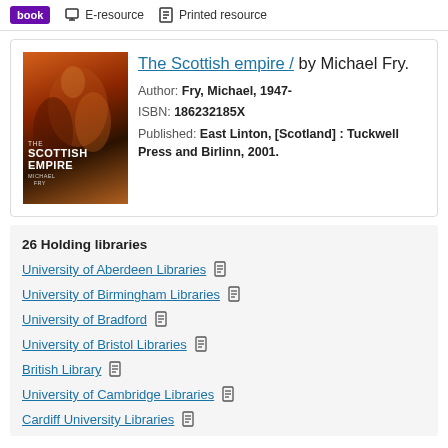book  E-resource  Printed resource
[Figure (illustration): Book cover of 'The Scottish Empire' by Michael Fry, showing a dramatic painting with figures and warm orange/red tones]
The Scottish empire / by Michael Fry.
Author: Fry, Michael, 1947-
ISBN: 186232185X
Published: East Linton, [Scotland] : Tuckwell Press and Birlinn, 2001.
26 Holding libraries
University of Aberdeen Libraries
University of Birmingham Libraries
University of Bradford
University of Bristol Libraries
British Library
University of Cambridge Libraries
Cardiff University Libraries